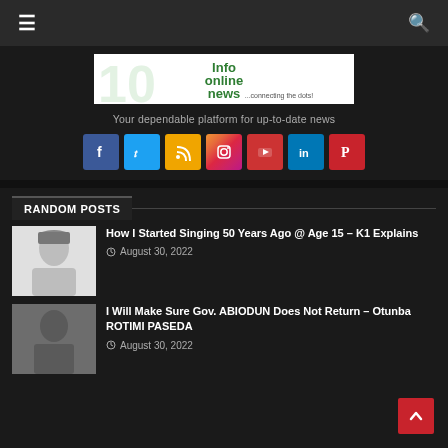Info Online News — navigation bar with hamburger menu and search icon
[Figure (logo): Info Online News logo — green logo with text 'Info online news ...connecting the dots!']
Your dependable platform for up-to-date news
[Figure (infographic): Social media icons row: Facebook, Twitter, RSS, Instagram, YouTube, LinkedIn, Pinterest]
RANDOM POSTS
[Figure (photo): Photo of K1 — a man wearing a traditional cap, smiling]
How I Started Singing 50 Years Ago @ Age 15 – K1 Explains
August 30, 2022
[Figure (photo): Photo of Otunba Rotimi Paseda — a man in a suit]
I Will Make Sure Gov. ABIODUN Does Not Return – Otunba ROTIMI PASEDA
August 30, 2022